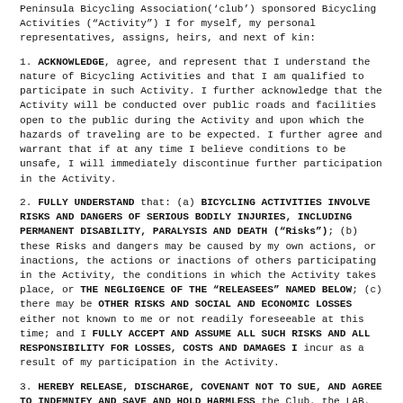Peninsula Bicycling Association('club') sponsored Bicycling Activities ("Activity") I for myself, my personal representatives, assigns, heirs, and next of kin:
1. ACKNOWLEDGE, agree, and represent that I understand the nature of Bicycling Activities and that I am qualified to participate in such Activity. I further acknowledge that the Activity will be conducted over public roads and facilities open to the public during the Activity and upon which the hazards of traveling are to be expected. I further agree and warrant that if at any time I believe conditions to be unsafe, I will immediately discontinue further participation in the Activity.
2. FULLY UNDERSTAND that: (a) BICYCLING ACTIVITIES INVOLVE RISKS AND DANGERS OF SERIOUS BODILY INJURIES, INCLUDING PERMANENT DISABILITY, PARALYSIS AND DEATH ("Risks"); (b) these Risks and dangers may be caused by my own actions, or inactions, the actions or inactions of others participating in the Activity, the conditions in which the Activity takes place, or THE NEGLIGENCE OF THE "RELEASEES" NAMED BELOW; (c) there may be OTHER RISKS AND SOCIAL AND ECONOMIC LOSSES either not known to me or not readily foreseeable at this time; and I FULLY ACCEPT AND ASSUME ALL SUCH RISKS AND ALL RESPONSIBILITY FOR LOSSES, COSTS AND DAMAGES I incur as a result of my participation in the Activity.
3. HEREBY RELEASE, DISCHARGE, COVENANT NOT TO SUE, AND AGREE TO INDEMNIFY AND SAVE AND HOLD HARMLESS the Club, the LAB, their respective administrators, directors, agents, and employees, other participants, any sponsors, advertisers, and, if applicable, owners and leasers of premises on which the Activity takes place, on behalf of the